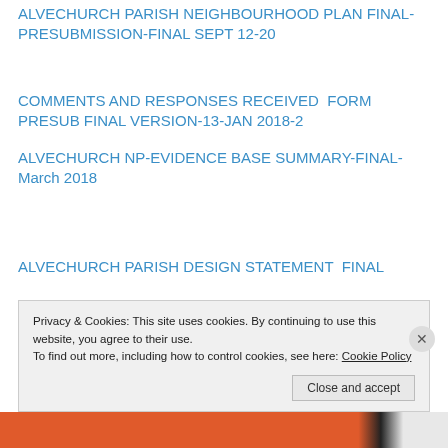ALVECHURCH PARISH NEIGHBOURHOOD PLAN FINAL-PRESUBMISSION-FINAL SEPT 12-20
COMMENTS AND RESPONSES RECEIVED  FORM PRESUB FINAL VERSION-13-JAN 2018-2
ALVECHURCH NP-EVIDENCE BASE SUMMARY-FINAL-March 2018
ALVECHURCH PARISH DESIGN STATEMENT  FINAL
Privacy & Cookies: This site uses cookies. By continuing to use this website, you agree to their use.
To find out more, including how to control cookies, see here: Cookie Policy